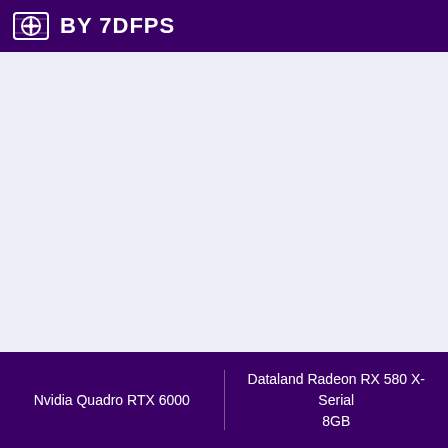BY 7DFPS
Nvidia Quadro RTX 6000 | Dataland Radeon RX 580 X-Serial 8GB